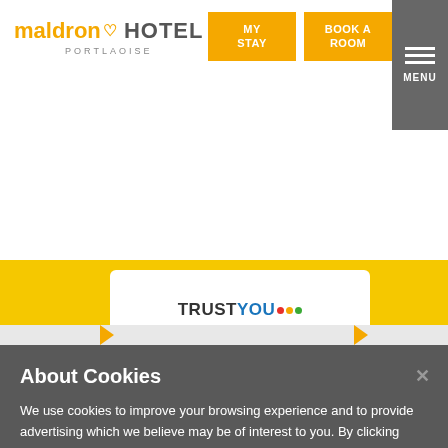[Figure (screenshot): Maldron Hotel Portlaoise website header with logo, MY STAY and BOOK A ROOM navigation buttons, and hamburger MENU button on grey background]
[Figure (logo): TrustYou logo in white speech bubble on yellow background]
About Cookies
We use cookies to improve your browsing experience and to provide advertising which we believe may be of interest to you. By clicking "Accept All Cookies", you agree to the storing of cookies on your device to enhance site navigation, analyse site usage, and assist in our marketing efforts. Cookie Policy
Cookies Settings
Accept All Cookies